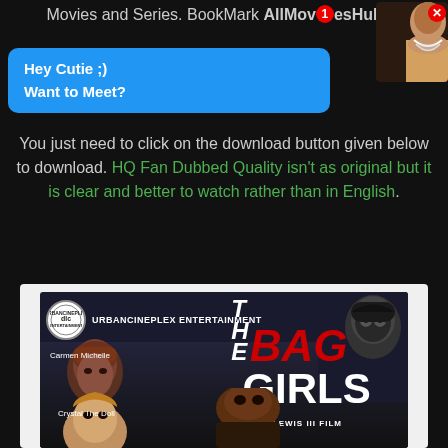Movies and Series. BookMark AllMoviesHub.in
[Figure (screenshot): Blue popup ad bubble saying 'Hey Cutie ;) Want to Meet?' overlapping the top portion of the page, with a thumbnail of a woman in the top right corner and a red X close button]
You just need to click on the download button given below to download. HQ Fan Dubbed Quality isn't as original but it is clear and better to watch rather than in English.
[Figure (photo): Movie poster for 'The Bag Girls' by Urbancineplex Entertainment, A Wil Lewis III Film. Shows actresses Carmen Michelle and Crystal The Doll.]